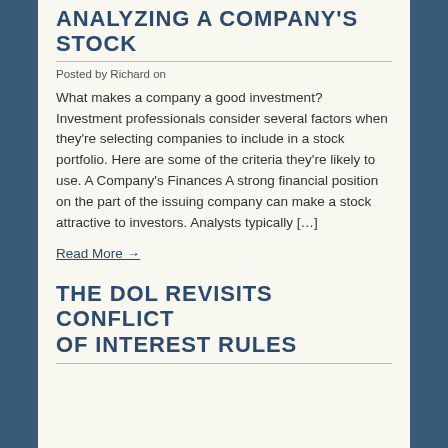ANALYZING A COMPANY'S STOCK
Posted by Richard on
What makes a company a good investment? Investment professionals consider several factors when they're selecting companies to include in a stock portfolio. Here are some of the criteria they're likely to use. A Company's Finances A strong financial position on the part of the issuing company can make a stock attractive to investors. Analysts typically […]
Read More →
THE DOL REVISITS CONFLICT OF INTEREST RULES